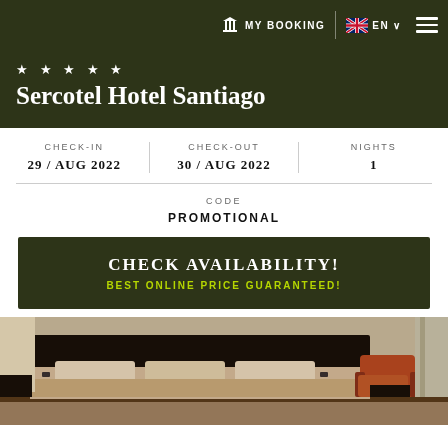MY BOOKING | EN
★ ★ ★ ★ ★
Sercotel Hotel Santiago
CHECK-IN 29/AUG 2022 | CHECK-OUT 30/AUG 2022 | NIGHTS 1
CODE
PROMOTIONAL
CHECK AVAILABILITY!
BEST ONLINE PRICE GUARANTEED!
[Figure (photo): Hotel room with dark wood headboard, beige/tan bedding, orange armchair, and curtains in background]